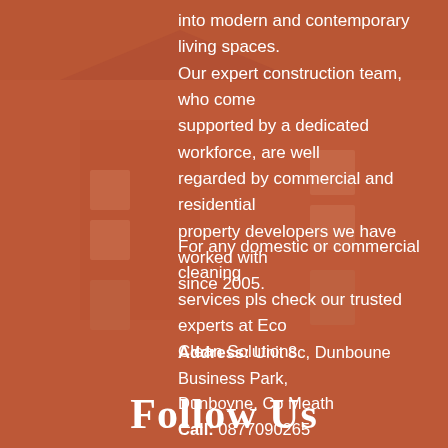[Figure (photo): Background photo of a traditional stone house/building with terracotta/orange color overlay filter applied over the entire page.]
into modern and contemporary living spaces. Our expert construction team, who come supported by a dedicated workforce, are well regarded by commercial and residential property developers we have worked with since 2005.
For any domestic or commercial cleaning services pls check our trusted experts at Eco Clean Solutions.
Address: Unit 8c, Dunboune Business Park, Dunboyne, Co Meath
Call: 0877090265
Email: info@urbanbuild.ie
Follow Us